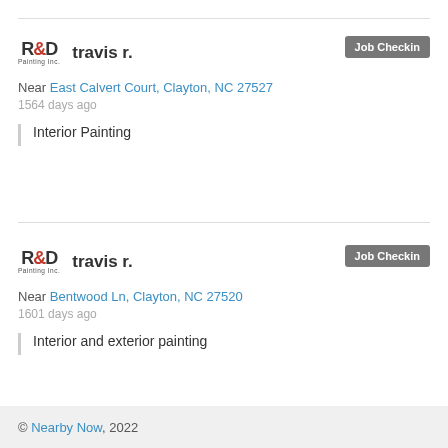[Figure (logo): R&D Painting Inc. logo with username travis r. and Job Checkin button]
Near East Calvert Court, Clayton, NC 27527
1564 days ago
Interior Painting
[Figure (logo): R&D Painting Inc. logo with username travis r. and Job Checkin button]
Near Bentwood Ln, Clayton, NC 27520
1601 days ago
Interior and exterior painting
© Nearby Now, 2022